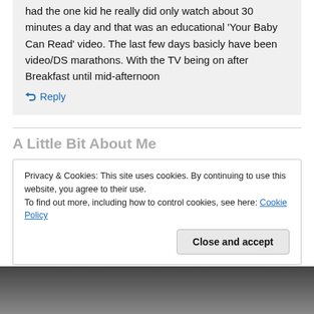had the one kid he really did only watch about 30 minutes a day and that was an educational 'Your Baby Can Read' video. The last few days basicly have been video/DS marathons. With the TV being on after Breakfast until mid-afternoon
↳ Reply
A Little Bit About Me
Privacy & Cookies: This site uses cookies. By continuing to use this website, you agree to their use.
To find out more, including how to control cookies, see here: Cookie Policy
Close and accept
[Figure (photo): Partial photo strip at bottom of page]